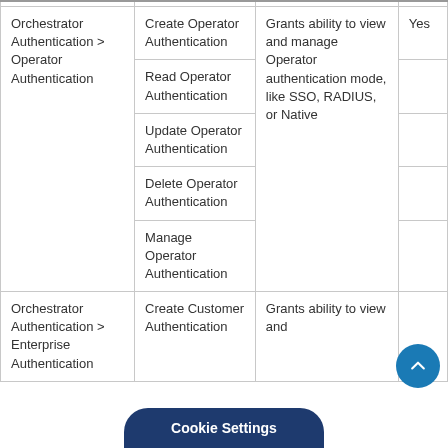| Category | Permission | Description | Auditable |
| --- | --- | --- | --- |
| Orchestrator Authentication > Operator Authentication | Create Operator Authentication | Grants ability to view and manage Operator authentication mode, like SSO, RADIUS, or Native | Yes |
|  | Read Operator Authentication |  |  |
|  | Update Operator Authentication |  |  |
|  | Delete Operator Authentication |  |  |
|  | Manage Operator Authentication |  |  |
| Orchestrator Authentication > Enterprise Authentication | Create Customer Authentication | Grants ability to view and |  |